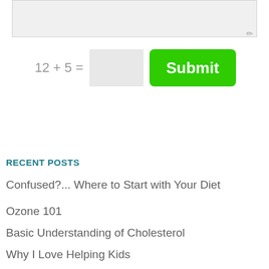[Figure (screenshot): Comment form textarea (gray input box) with pencil/edit icon at bottom right]
[Figure (screenshot): CAPTCHA math question row: '12 + 5 =' with gray input box and green Submit button]
RECENT POSTS
Confused?... Where to Start with Your Diet
Ozone 101
Basic Understanding of Cholesterol
Why I Love Helping Kids
Vegetarian Protein Ideas